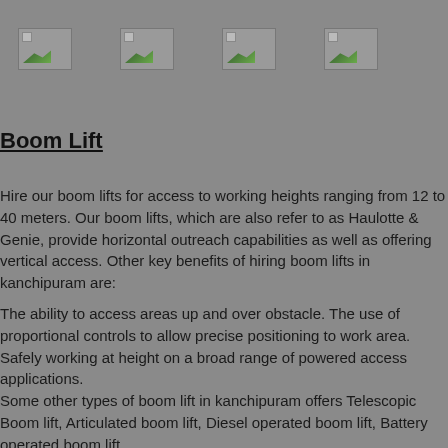[Figure (photo): Four broken/placeholder images in a row]
Boom Lift
Hire our boom lifts for access to working heights ranging from 12 to 40 meters. Our boom lifts, which are also refer to as Haulotte & Genie, provide horizontal outreach capabilities as well as offering vertical access. Other key benefits of hiring boom lifts in kanchipuram are:
The ability to access areas up and over obstacle. The use of proportional controls to allow precise positioning to work area. Safely working at height on a broad range of powered access applications.
Some other types of boom lift in kanchipuram offers Telescopic Boom lift, Articulated boom lift, Diesel operated boom lift, Battery operated boom lift...